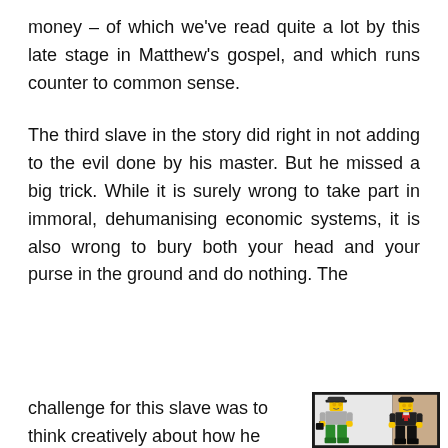money – of which we've read quite a lot by this late stage in Matthew's gospel, and which runs counter to common sense.
The third slave in the story did right in not adding to the evil done by his master. But he missed a big trick. While it is surely wrong to take part in immoral, dehumanising economic systems, it is also wrong to bury both your head and your purse in the ground and do nothing. The challenge for this slave was to think creatively about how he could have put his talent
[Figure (photo): Two LEGO minifigures standing side by side against a two-toned background (white and tan). Left figure wears a grey shirt, green pants, a black cap, and carries a black briefcase. Right figure wears a black suit with red bow tie detail and has dark hair.]